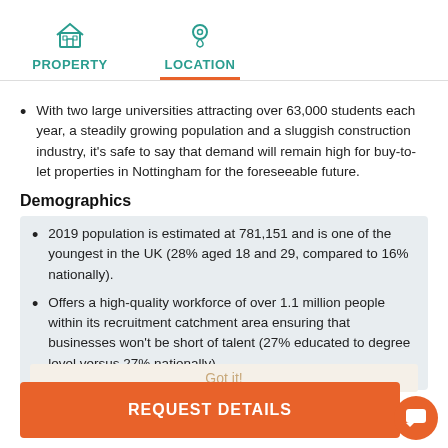PROPERTY   LOCATION
With two large universities attracting over 63,000 students each year, a steadily growing population and a sluggish construction industry, it's safe to say that demand will remain high for buy-to-let properties in Nottingham for the foreseeable future.
Demographics
2019 population is estimated at 781,151 and is one of the youngest in the UK (28% aged 18 and 29, compared to 16% nationally).
Offers a high-quality workforce of over 1.1 million people within its recruitment catchment area ensuring that businesses won't be short of talent (27% educated to degree level versus 27% nationally).